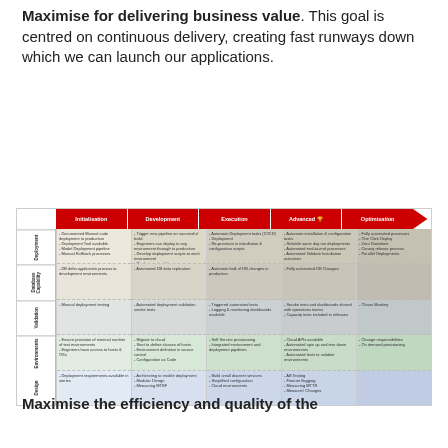Maximise for delivering business value. This goal is centred on continuous delivery, creating fast runways down which we can launch our applications.
[Figure (infographic): A maturity model diagram showing five stages (Initialisation, Development, Execution, Advanced, Optimisation) across five capability rows (Deployment, Database Capability, Validation, Environments, Design). Each cell contains bullet points describing practices at that maturity level.]
Maximise the efficiency and quality of the